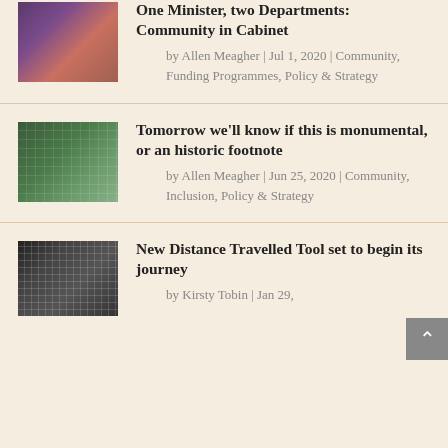[Figure (photo): Thumbnail image of a person at a community event with purple and pink tones]
One Minister, two Departments: Community in Cabinet
by Allen Meagher | Jul 1, 2020 | Community, Funding Programmes, Policy & Strategy
[Figure (photo): Thumbnail image of a group of people in green shirts at a rally or demonstration]
Tomorrow we'll know if this is monumental, or an historic footnote
by Allen Meagher | Jun 25, 2020 | Community, Inclusion, Policy & Strategy
[Figure (photo): Thumbnail image with dark grid/mosaic pattern]
New Distance Travelled Tool set to begin its journey
by Kirsty Tobin | Jan 29,